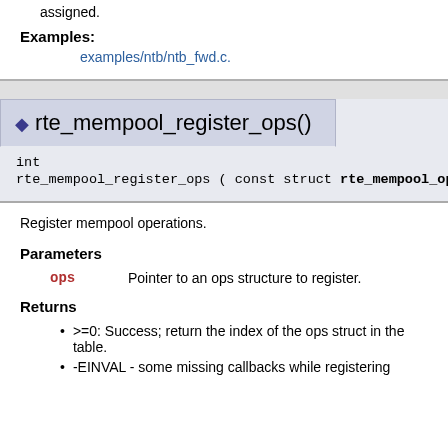assigned.
Examples:
examples/ntb/ntb_fwd.c.
◆ rte_mempool_register_ops()
int rte_mempool_register_ops ( const struct rte_mempool_ops * ops )
Register mempool operations.
Parameters
ops   Pointer to an ops structure to register.
Returns
>=0: Success; return the index of the ops struct in the table.
-EINVAL - some missing callbacks while registering